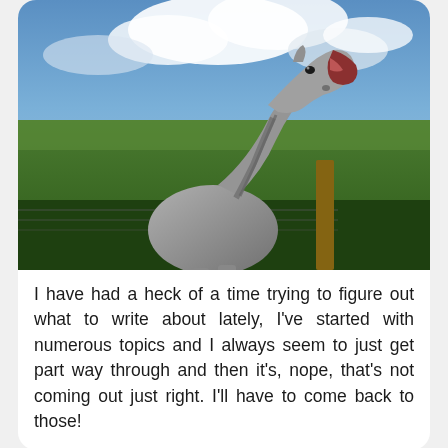[Figure (photo): A grey horse standing in a green farm field near a wooden fence post with wire fencing, mouth open wide as if laughing or braying, against a dramatic cloudy blue sky.]
I have had a heck of a time trying to figure out what to write about lately, I've started with numerous topics and I always seem to just get part way through and then it's, nope, that's not coming out just right. I'll have to come back to those!